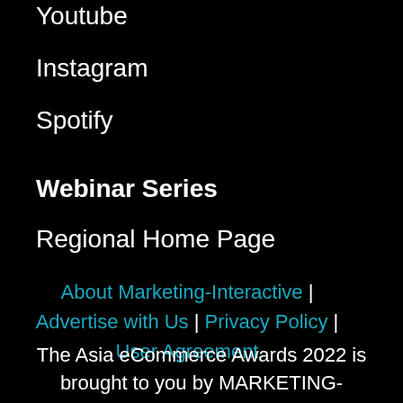Youtube
Instagram
Spotify
Webinar Series
Regional Home Page
About Marketing-Interactive | Advertise with Us | Privacy Policy | User Agreement
The Asia eCommerce Awards 2022 is brought to you by MARKETING-INTERACTIVE, a publication of Lighthouse Independent Media. © 2022 Lighthouse Independent Media. All